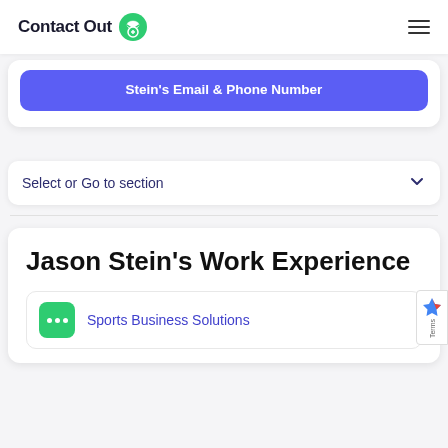ContactOut
Stein's Email & Phone Number
Select or Go to section
Jason Stein's Work Experience
Sports Business Solutions